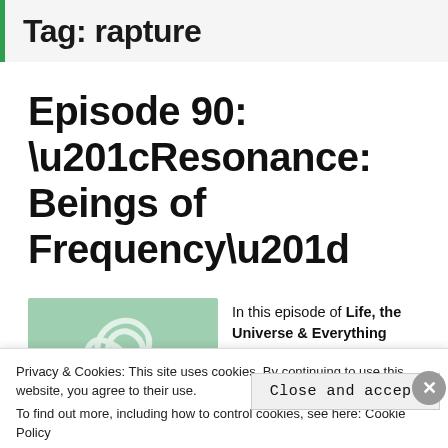Tag: rapture
Episode 90: “Resonance: Beings of Frequency”
[Figure (illustration): Green swirl logo/thumbnail image for the podcast episode]
In this episode of Life, the Universe & Everything
Privacy & Cookies: This site uses cookies. By continuing to use this website, you agree to their use.
To find out more, including how to control cookies, see here: Cookie Policy
Close and accept
Back up your site